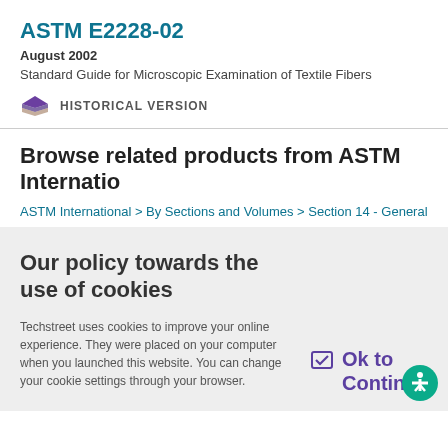ASTM E2228-02
August 2002
Standard Guide for Microscopic Examination of Textile Fibers
HISTORICAL VERSION
Browse related products from ASTM International
ASTM International > By Sections and Volumes > Section 14 - General Me…
Our policy towards the use of cookies
Techstreet uses cookies to improve your online experience. They were placed on your computer when you launched this website. You can change your cookie settings through your browser.
Ok to Continue